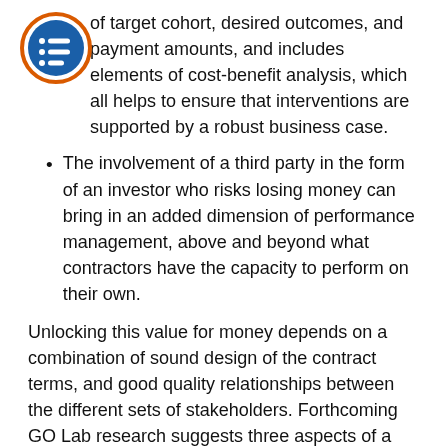of target cohort, desired outcomes, and payment amounts, and includes elements of cost-benefit analysis, which all helps to ensure that interventions are supported by a robust business case.
The involvement of a third party in the form of an investor who risks losing money can bring in an added dimension of performance management, above and beyond what contractors have the capacity to perform on their own.
Unlocking this value for money depends on a combination of sound design of the contract terms, and good quality relationships between the different sets of stakeholders. Forthcoming GO Lab research suggests three aspects of a contract that should be tightly specified in order to have assurance a contract will deliver value: the cohort, the outcomes, and the price of the outcomes (see "Designing a